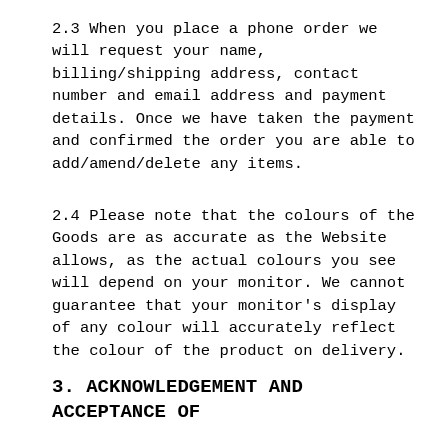2.3 When you place a phone order we will request your name, billing/shipping address, contact number and email address and payment details. Once we have taken the payment and confirmed the order you are able to add/amend/delete any items.
2.4 Please note that the colours of the Goods are as accurate as the Website allows, as the actual colours you see will depend on your monitor. We cannot guarantee that your monitor's display of any colour will accurately reflect the colour of the product on delivery.
3. ACKNOWLEDGEMENT AND ACCEPTANCE OF